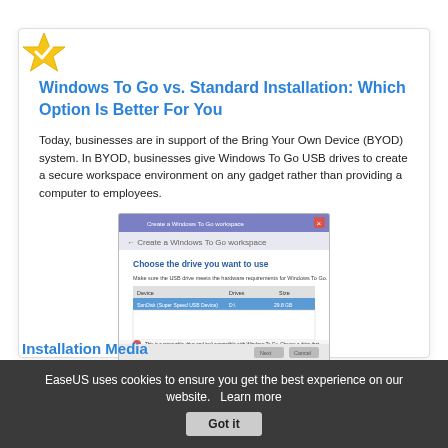Windows To Go vs. Standard Installation: Which Option Is Better For You
Today, businesses are in support of the Bring Your Own Device (BYOD) system. In BYOD, businesses give Windows To Go USB drives to create a secure workspace environment on any gadget rather than providing a computer to employees.
[Figure (screenshot): Windows 'Create a Windows To Go workspace' dialog showing 'Choose the drive you want to use' with a device list and an error message about incompatible removable drive.]
Installation Media
EaseUS uses cookies to ensure you get the best experience on our website.   Learn more
Got it